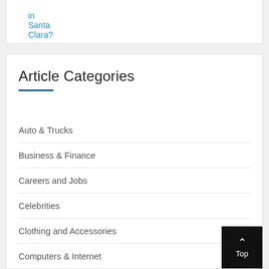in Santa Clara?
Article Categories
Auto & Trucks
Business & Finance
Careers and Jobs
Celebrities
Clothing and Accessories
Computers & Internet